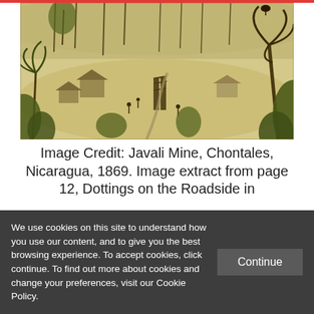[Figure (illustration): Historical engraving of Javali Mine, Chontales, Nicaragua, 1869. Shows a tropical landscape with mining structures, huts, workers, lush vegetation including palm trees and tropical forest in the background.]
Image Credit: Javali Mine, Chontales, Nicaragua, 1869. Image extract from page 12, Dottings on the Roadside in
We use cookies on this site to understand how you use our content, and to give you the best browsing experience. To accept cookies, click continue. To find out more about cookies and change your preferences, visit our Cookie Policy.